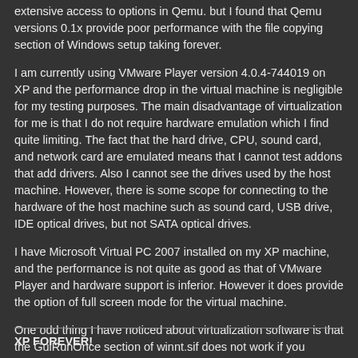extensive access to options in Qemu. but I found that Qemu versions 0.1x provide poor performance with the file copying section of Windows setup taking forever.
I am currently using VMware Player version 4.0.4-744019 on XP and the performance drop in the virtual machine is negligible for my testing purposes. The main disadvantage of virtualization for me is that I do not require hardware emulation which I find quite limiting. The fact that the hard drive, CPU, sound card, and network card are emulated means that I cannot test addons that add drivers. Also I cannot see the drives used by the host machine. However, there is some scope for connecting to the hardware of the host machine such as sound card, USB drive, IDE optical drives, but not SATA optical drives.
I have Microsoft Virtual PC 2007 installed on my XP machine, and the performance is not quite as good as that of VMware Player and hardware support is inferior. However it does provide the option of full screen mode for the virtual machine.
One odd thing I have noticed about virtualization software is that the GuiRunOnce section of winnt.sif does not work if you require to run bat files in the $OEM$\$1\Install folder.
XP FOREVER!